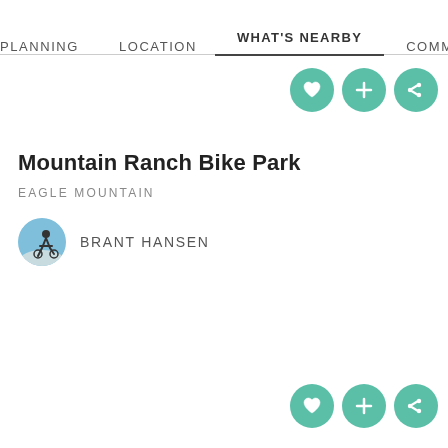PLANNING   LOCATION   WHAT'S NEARBY   COMMENT
Mountain Ranch Bike Park
EAGLE MOUNTAIN
Brant Hansen
[Figure (infographic): Three circular teal icon buttons: heart (favorite), plus (add), and share icons — appearing twice on the page (top right and bottom right)]